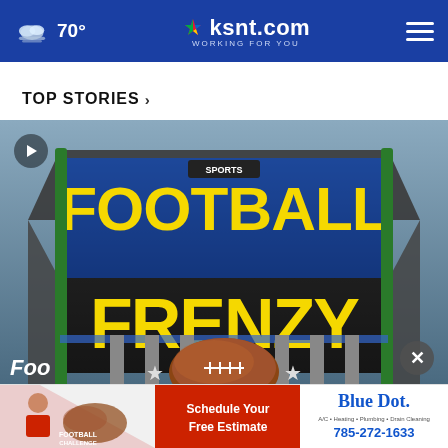70° ksnt.com WORKING FOR YOU
TOP STORIES ›
[Figure (screenshot): Football Frenzy NBC Sports graphic with large yellow text FOOTBALL FRENZY on a scoreboard-style display with a football in the center, play button in top-left corner]
[Figure (other): Blue Dot advertisement banner: Football Challenge Sponsor, Schedule Your Free Estimate, Blue Dot A/C Heating Plumbing Drain Cleaning, 785-272-1633]
Foo